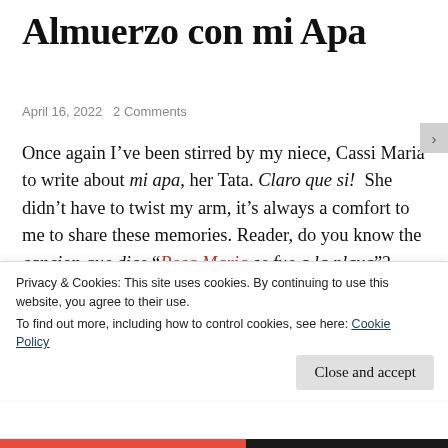Almuerzo con mi Apa
April 16, 2022   2 Comments
Once again I've been stirred by my niece, Cassi Maria to write about mi apa, her Tata. Claro que si!  She didn't have to twist my arm, it's always a comfort to me to share these memories. Reader, do you know the cancion que dice “Rosa Maria se fue a la playa”?  When Cassandra was a wee little girl I loved singing that to her, por su puesto que I changed it to Cassi
Privacy & Cookies: This site uses cookies. By continuing to use this website, you agree to their use.
To find out more, including how to control cookies, see here: Cookie Policy
Close and accept